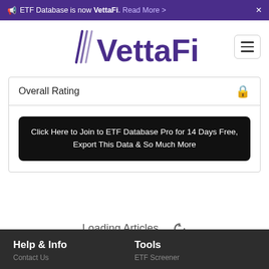ETF Database is now VettaFi. Read More >
[Figure (logo): VettaFi logo in purple with stylized V icon]
| Overall Rating |  |
| --- | --- |
|  | 🔒 |
| Click Here to Join to ETF Database Pro for 14 Days Free, Export This Data & So Much More |  |
Loading Articles...
Help & Info   Tools